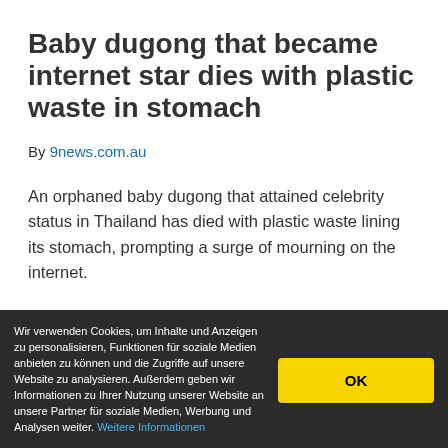Baby dugong that became internet star dies with plastic waste in stomach
By 9news.com.au
An orphaned baby dugong that attained celebrity status in Thailand has died with plastic waste lining its stomach, prompting a surge of mourning on the internet.
The female dugong, named Marium, was found in
Wir verwenden Cookies, um Inhalte und Anzeigen zu personalisieren, Funktionen für soziale Medien anbieten zu können und die Zugriffe auf unsere Website zu analysieren. Außerdem geben wir Informationen zu Ihrer Nutzung unserer Website an unsere Partner für soziale Medien, Werbung und Analysen weiter. Weitere Informationen